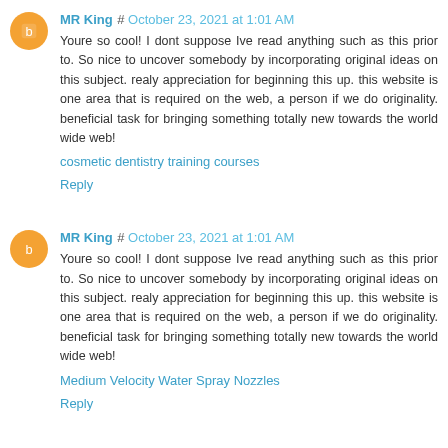MR King # October 23, 2021 at 1:01 AM
Youre so cool! I dont suppose Ive read anything such as this prior to. So nice to uncover somebody by incorporating original ideas on this subject. realy appreciation for beginning this up. this website is one area that is required on the web, a person if we do originality. beneficial task for bringing something totally new towards the world wide web!
cosmetic dentistry training courses
Reply
MR King # October 23, 2021 at 1:01 AM
Youre so cool! I dont suppose Ive read anything such as this prior to. So nice to uncover somebody by incorporating original ideas on this subject. realy appreciation for beginning this up. this website is one area that is required on the web, a person if we do originality. beneficial task for bringing something totally new towards the world wide web!
Medium Velocity Water Spray Nozzles
Reply